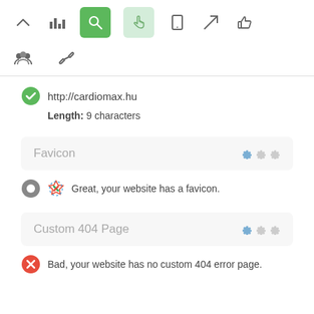[Figure (screenshot): Toolbar with icons: chevron up, bar chart, search (green active), hand pointer (light green active), mobile, send/rocket, thumbs up]
[Figure (screenshot): Second toolbar row with group/people icon and chain/link icon]
http://cardiomax.hu
Length: 9 characters
Favicon
Great, your website has a favicon.
Custom 404 Page
Bad, your website has no custom 404 error page.